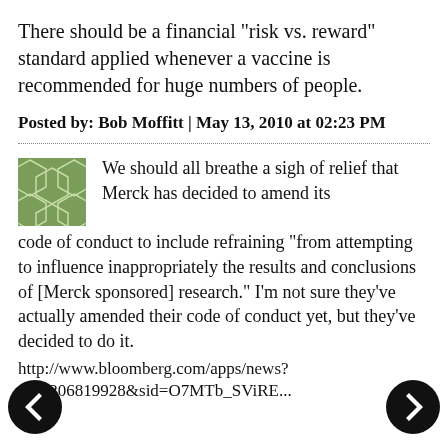There should be a financial "risk vs. reward" standard applied whenever a vaccine is recommended for huge numbers of people.
Posted by: Bob Moffitt | May 13, 2010 at 02:23 PM
[Figure (illustration): Green hexagonal pattern avatar/icon square image]
We should all breathe a sigh of relief that Merck has decided to amend its code of conduct to include refraining "from attempting to influence inappropriately the results and conclusions of [Merck sponsored] research." I'm not sure they've actually amended their code of conduct yet, but they've decided to do it.
http://www.bloomberg.com/apps/news?pid=206819928&sid=O7MTb_SViRE...